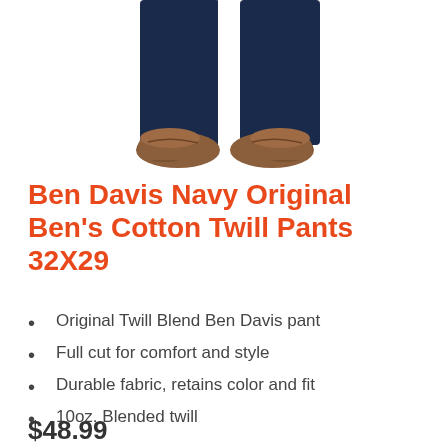[Figure (photo): Bottom half of a person wearing navy blue cotton twill pants and brown casual leather shoes, shown from waist down on white background.]
Ben Davis Navy Original Ben's Cotton Twill Pants 32X29
Original Twill Blend Ben Davis pant
Full cut for comfort and style
Durable fabric, retains color and fit
10oz. Blended twill
$48.99